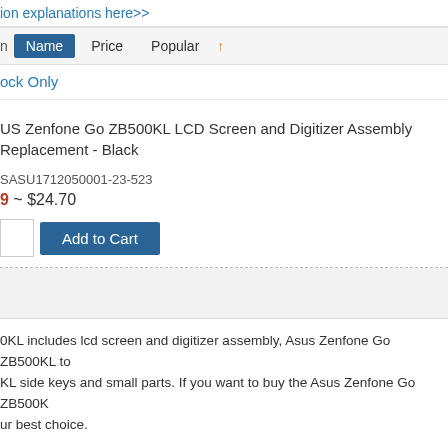ion explanations here>>
n  Name  Price  Popular ↑
ock Only
US Zenfone Go ZB500KL LCD Screen and Digitizer Assembly Replacement - Black
SASU1712050001-23-523
9 ~ $24.70
Add to Cart
0KL includes lcd screen and digitizer assembly, Asus Zenfone Go ZB500KL to KL side keys and small parts. If you want to buy the Asus Zenfone Go ZB500K ur best choice.